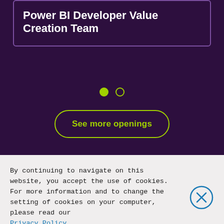Power BI Developer Value Creation Team
[Figure (infographic): Two circular navigation dots: one filled green (active), one outlined green (inactive), used as a carousel indicator]
See more openings
By continuing to navigate on this website, you accept the use of cookies.
For more information and to change the setting of cookies on your computer, please read our Privacy Policy.